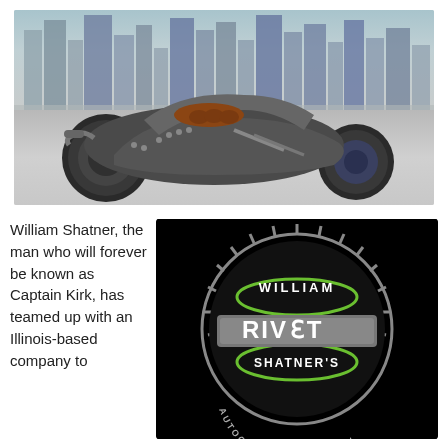[Figure (photo): A futuristic concept motorcycle with large dark wheels, riveted metallic body, brown leather seat, parked in front of a city skyline backdrop]
William Shatner, the man who will forever be known as Captain Kirk, has teamed up with an Illinois-based company to
[Figure (logo): William Shatner's RIVET Autographed Giveaway logo — circular gear/badge design in green, grey and white on black background]